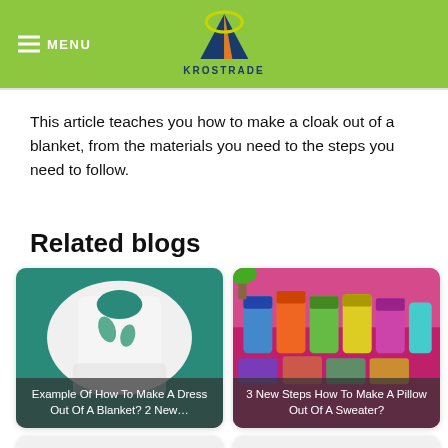MENU | KROSTRADE
This article teaches you how to make a cloak out of a blanket, from the materials you need to the steps you need to follow.
Related blogs
[Figure (photo): White garment/dress pattern on green cutting mat]
Example Of How To Make A Dress Out Of A Blanket? 2 New…
[Figure (photo): Colorful knitted/sewn items displayed on a pink table]
3 New Steps How To Make A Pillow Out Of A Sweater?